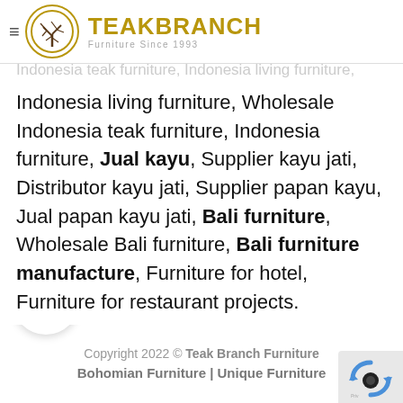TEAKBRANCH Furniture Since 1993
Indonesia teak furniture, Indonesia living furniture, Wholesale Indonesia teak furniture, Indonesia furniture, Jual kayu, Supplier kayu jati, Distributor kayu jati, Supplier papan kayu, Jual papan kayu jati, Bali furniture, Wholesale Bali furniture, Bali furniture manufacture, Furniture for hotel, Furniture for restaurant projects.
Branch Furniture - Contact
Copyright 2022 © Teak Branch Furniture
Bohomian Furniture | Unique Furniture